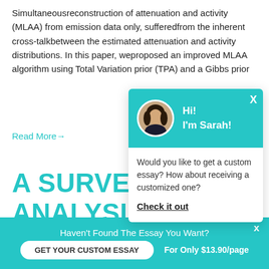Simultaneousreconstruction of attenuation and activity (MLAA) from emission data only, sufferedfrom the inherent cross-talkbetween the estimated attenuation and activity distributions. In this paper, weproposed an improved MLAA algorith... (TPA) and a Gibbs prior...
Read More→
A SURVEY ON ANALYSIS BAS EXTRACTION A CLASSIFICATION B
[Figure (other): Chat popup overlay with teal header, avatar of Sarah, greeting 'Hi! I'm Sarah!', message 'Would you like to get a custom essay? How about receiving a customized one?' and a 'Check it out' link.]
Haven't Found The Essay You Want?
GET YOUR CUSTOM ESSAY
For Only $13.90/page